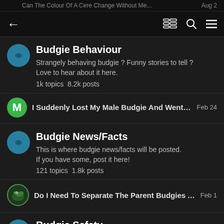Can The Colour Of A Cere Change Without Me...
Budgie Behaviour
Strangely behaving budgie ? Funny stories to tell ? Love to hear about it here.
1k topics  8.2k posts
I Suddenly Lost My Male Budgie And Went Aga...  Feb 24
Budgie News/Facts
This is where budgie news/facts will be posted. If you have some, post it here!
121 topics  1.8k posts
Do I Need To Separate The Parent Budgies Aft...  Feb 1
Budgie Safety
This is where you can post tips to other users.... what NOT to do with your pet, show or aviary budgies that live in the house, aviaries etc...